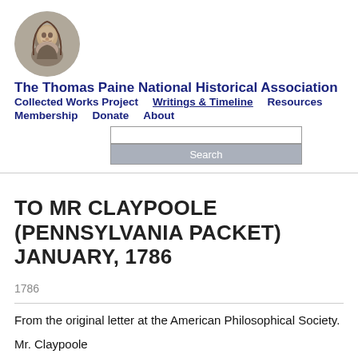[Figure (photo): Circular portrait photo of Thomas Paine, grayscale, in a circular frame]
The Thomas Paine National Historical Association
Collected Works Project   Writings & Timeline   Resources   Membership   Donate   About
TO MR CLAYPOOLE (PENNSYLVANIA PACKET) JANUARY, 1786
1786
From the original letter at the American Philosophical Society.
Mr. Claypoole